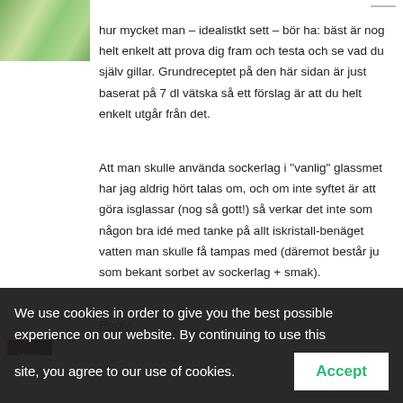[Figure (photo): Small thumbnail image of a colorful illustrated map or graphic in top left corner]
hur mycket man – idealistkt sett – bör ha: bäst är nog helt enkelt att prova dig fram och testa och se vad du själv gillar. Grundreceptet på den här sidan är just baserat på 7 dl vätska så ett förslag är att du helt enkelt utgår från det.
Att man skulle använda sockerlag i "vanlig" glassmet har jag aldrig hört talas om, och om inte syftet är att göra isglassar (nog så gott!) så verkar det inte som någon bra idé med tanke på allt iskristall-benäget vatten man skulle få tampas med (däremot består ju som bekant sorbet av sockerlag + smak).
Reply
[Figure (logo): MADE logo avatar icon in brown/red with geometric pattern]
kent  28/04/2016 at 19:34
We use cookies in order to give you the best possible experience on our website. By continuing to use this site, you agree to our use of cookies.
Accept